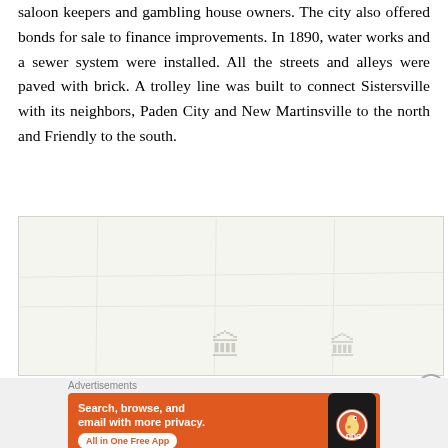saloon keepers and gambling house owners. The city also offered bonds for sale to finance improvements. In 1890, water works and a sewer system were installed. All the streets and alleys were paved with brick. A trolley line was built to connect Sistersville with its neighbors, Paden City and New Martinsville to the north and Friendly to the south.
[Figure (map): A partially visible map with faint monument or building icons visible at the bottom, light background with faint map details]
Advertisements
[Figure (screenshot): DuckDuckGo advertisement banner on orange background reading 'Search, browse, and email with more privacy. All in One Free App' with a phone mockup showing the DuckDuckGo logo]